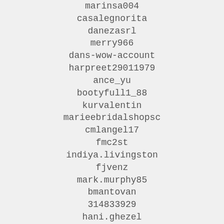marinsa004
casalegnorita
danezasrl
merry966
dans-wow-account
harpreet29011979
ance_yu
bootyfull1_88
kurvalentin
marieebridalshopsc
cmlangel17
fmc2st
indiya.livingston
fjvenz
mark.murphy85
bmantovan
314833929
hani.ghezel
khanisorn_jr
feliciamaritza
dpassafi10
lginko2003
edznluv_09
dragulj2002
asrinema